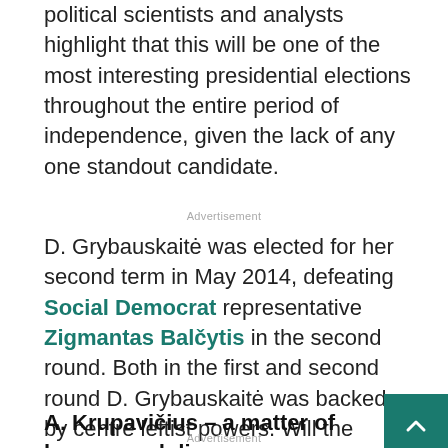political scientists and analysts highlight that this will be one of the most interesting presidential elections throughout the entire period of independence, given the lack of any one standout candidate.
Advertisement
D. Grybauskaitė was elected for her second term in May 2014, defeating Social Democrat representative Zigmantas Balčytis in the second round. Both in the first and second round D. Grybauskaitė was backed by centre leftist powers. Will the major political powers find candidates to back among their own ranks in the coming election?
A. Krupavičius – a matter of honour and di…
Advertisement